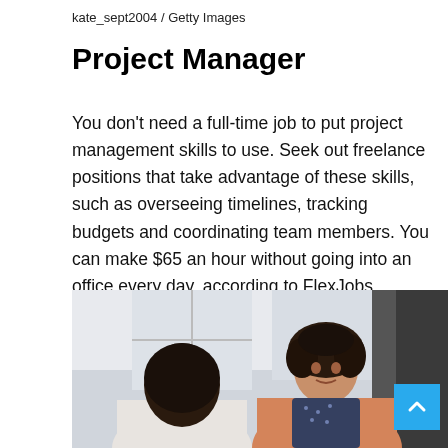kate_sept2004 / Getty Images
Project Manager
You don’t need a full-time job to put project management skills to use. Seek out freelance positions that take advantage of these skills, such as overseeing timelines, tracking budgets and coordinating team members. You can make $65 an hour without going into an office every day, according to FlexJobs.
[Figure (photo): Two women in a professional setting having a conversation. One woman with curly hair wearing an orange/salmon cardigan is facing the camera, while another woman with long dark hair is seen from behind. The setting appears to be an office or meeting room with large windows.]